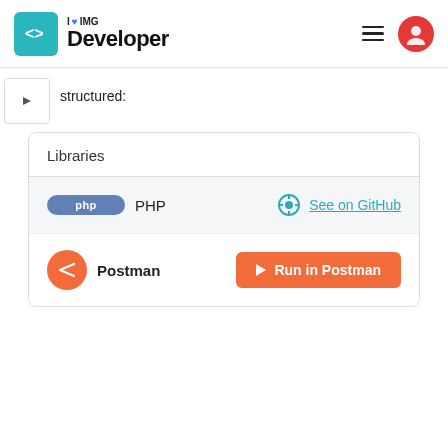I ♥ IMG Developer
structured:
Libraries
PHP  See on GitHub
Postman  Run in Postman